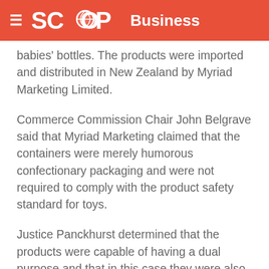SCOOP Business
babies' bottles. The products were imported and distributed in New Zealand by Myriad Marketing Limited.
Commerce Commission Chair John Belgrave said that Myriad Marketing claimed that the containers were merely humorous confectionary packaging and were not required to comply with the product safety standard for toys.
Justice Panckhurst determined that the products were capable of having a dual purpose and that in this case they were also toys designed for use by young children.